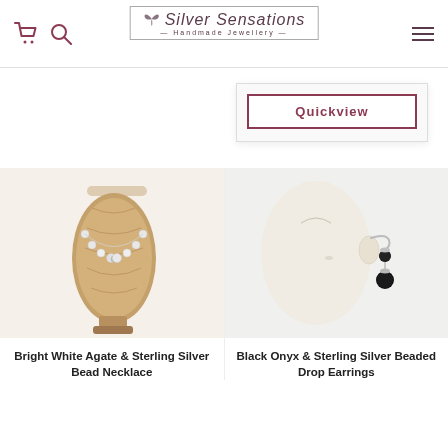Silver Sensations – Handmade Jewellery
Quickview
[Figure (photo): A pearl/white agate bead necklace draped on a wooden jewellery bust stand]
Bright White Agate & Sterling Silver Bead Necklace
[Figure (photo): Black onyx and sterling silver beaded drop earrings shown on an ear model/mannequin]
Black Onyx & Sterling Silver Beaded Drop Earrings